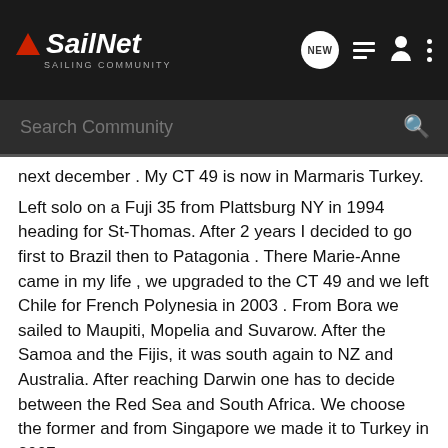SailNet SAILING COMMUNITY
Search Community
next december . My CT 49 is now in Marmaris Turkey. Left solo on a Fuji 35 from Plattsburg NY in 1994 heading for St-Thomas. After 2 years I decided to go first to Brazil then to Patagonia . There Marie-Anne came in my life , we upgraded to the CT 49 and we left Chile for French Polynesia in 2003 . From Bora we sailed to Maupiti, Mopelia and Suvarow. After the Samoa and the Fijis, it was south again to NZ and Australia. After reaching Darwin one has to decide between the Red Sea and South Africa. We choose the former and from Singapore we made it to Turkey in 2007. There , Mikado had a new teak deck as well as allwgrip and engine refit. She is a fine cruiser design by Kaufman and Ladd . Sailing the trades with the genny poled out does tell a lot about the proper lines of a sailing hull. If the autopilot can manage day after day